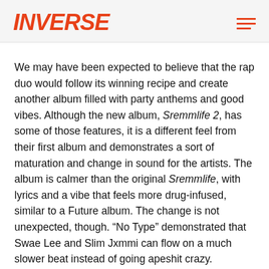INVERSE
We may have been expected to believe that the rap duo would follow its winning recipe and create another album filled with party anthems and good vibes. Although the new album, Sremmlife 2, has some of those features, it is a different feel from their first album and demonstrates a sort of maturation and change in sound for the artists. The album is calmer than the original Sremmlife, with lyrics and a vibe that feels more drug-infused, similar to a Future album. The change is not unexpected, though. “No Type” demonstrated that Swae Lee and Slim Jxmmi can flow on a much slower beat instead of going apeshit crazy.